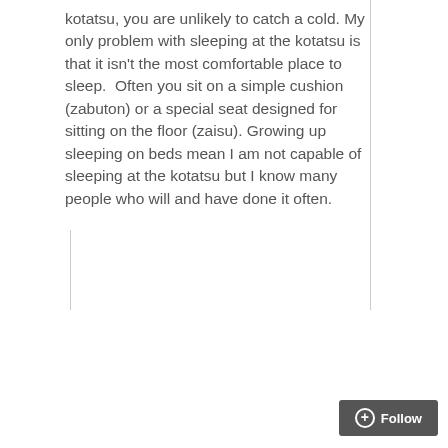kotatsu, you are unlikely to catch a cold. My only problem with sleeping at the kotatsu is that it isn't the most comfortable place to sleep.  Often you sit on a simple cushion (zabuton) or a special seat designed for sitting on the floor (zaisu). Growing up sleeping on beds mean I am not capable of sleeping at the kotatsu but I know many people who will and have done it often.
[Figure (photo): A dog peeking out from under a brown blanket/kotatsu covering, lying on a round dog bed. Only the dog's face and snout are visible under the dark brown fabric.]